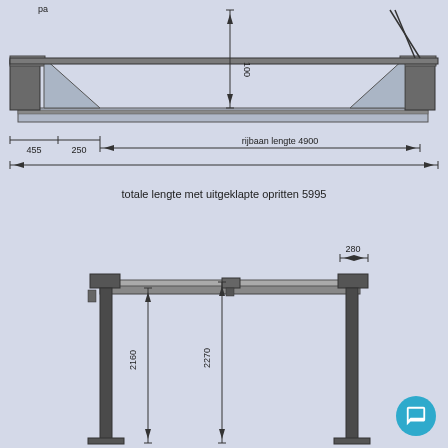[Figure (engineering-diagram): Top view engineering diagram of a car lift ramp showing dimensions: 455, 250, rijbaan lengte 4900, 100, and partial label 'pa' at top left. Dimension arrows indicate various measurements including height 100 and length components.]
totale lengte met uitgeklapte opritten  5995
[Figure (engineering-diagram): Front/side view engineering diagram of a two-post car lift showing dimensions: 280 (width at top right), 2160 (left post height), 2270 (center height), with vertical dimension arrows.]